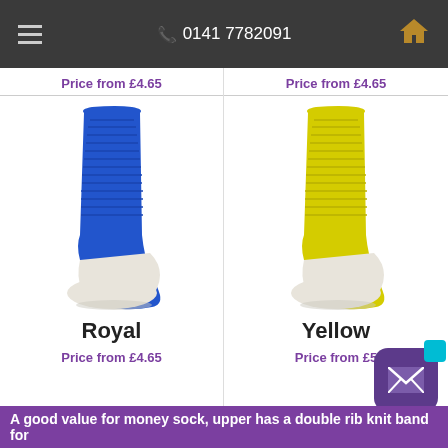0141 7782091
Price from £4.65
Price from £4.65
[Figure (photo): Royal blue football/sports sock with white sole]
[Figure (photo): Yellow football/sports sock with white sole]
Royal
Yellow
Price from £4.65
Price from £5
A good value for money sock, upper has a double rib knit band for